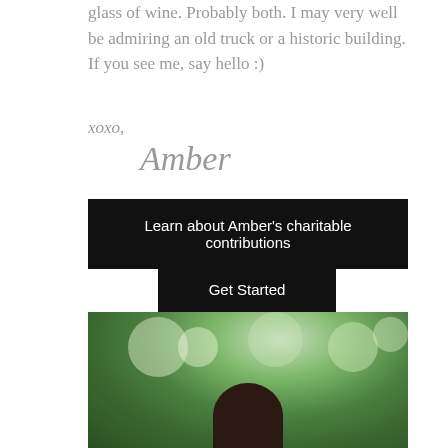glass of wine. Probably both. I may very well be admiring an old truck or a historic building. If you see me, say hello :)
xoxo,
Amber
Learn about Amber's charitable contributions
Get Started
[Figure (photo): Outdoor portrait photo of a woman with dark hair against a blurred green tree background with bokeh lighting effects]